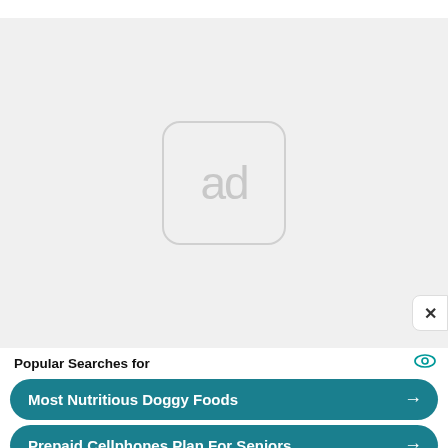[Figure (other): Ad placeholder area with light gray background and an 'ad' icon in a rounded rectangle]
×
Popular Searches for
Most Nutritious Doggy Foods →
Prepaid Cellphones Plan For Seniors →
Yahoo! Search | Sponsored